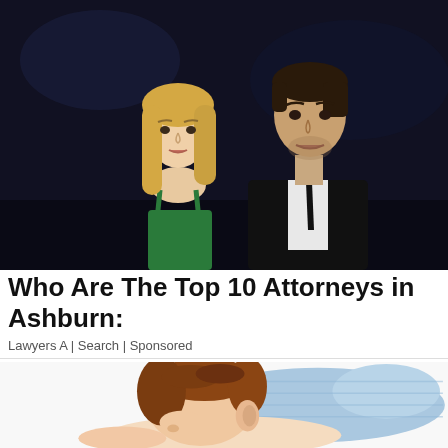[Figure (photo): Photo of a young blonde woman in a green dress and a dark-haired man in a black suit, posing together against a dark background]
Who Are The Top 10 Attorneys in Ashburn:
Lawyers A | Search | Sponsored
[Figure (illustration): Illustration of a person sleeping face-down on a blue pillow, cartoon/vector art style with brown hair]